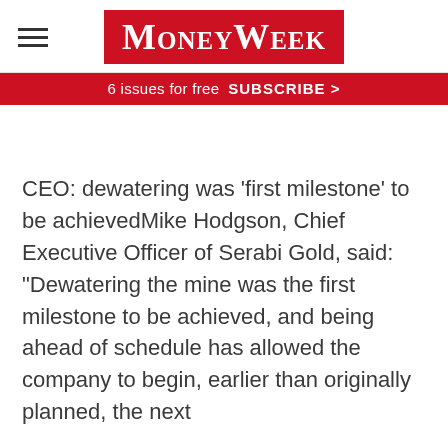MoneyWeek
6 issues for free   SUBSCRIBE >
CEO: dewatering was 'first milestone' to be achievedMike Hodgson, Chief Executive Officer of Serabi Gold, said: "Dewatering the mine was the first milestone to be achieved, and being ahead of schedule has allowed the company to begin, earlier than originally planned, the next